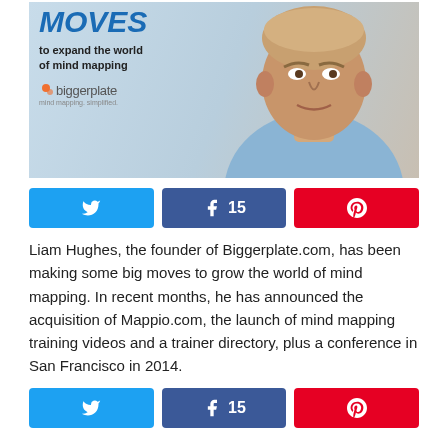[Figure (photo): Banner image for Biggerplate.com article showing the text 'MOVES to expand the world of mind mapping' with the Biggerplate logo, and a photo of a man (Liam Hughes) in a blue shirt on the right side.]
[Figure (other): Social share buttons row: Twitter share button (blue), Facebook share button with count 15 (dark blue), Pinterest share button (red)]
Liam Hughes, the founder of Biggerplate.com, has been making some big moves to grow the world of mind mapping. In recent months, he has announced the acquisition of Mappio.com, the launch of mind mapping training videos and a trainer directory, plus a conference in San Francisco in 2014.
[Figure (other): Social share buttons row (bottom): Twitter share button (blue), Facebook share button with count 15 (dark blue), Pinterest share button (red)]